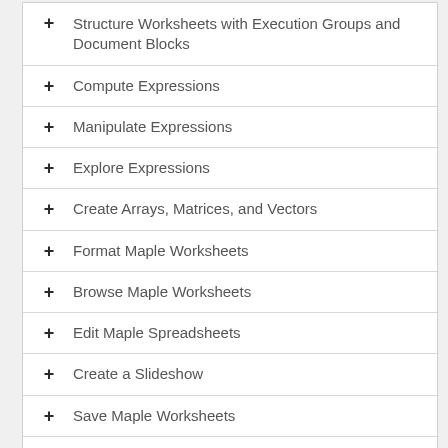Structure Worksheets with Execution Groups and Document Blocks
Compute Expressions
Manipulate Expressions
Explore Expressions
Create Arrays, Matrices, and Vectors
Format Maple Worksheets
Browse Maple Worksheets
Edit Maple Spreadsheets
Create a Slideshow
Save Maple Worksheets